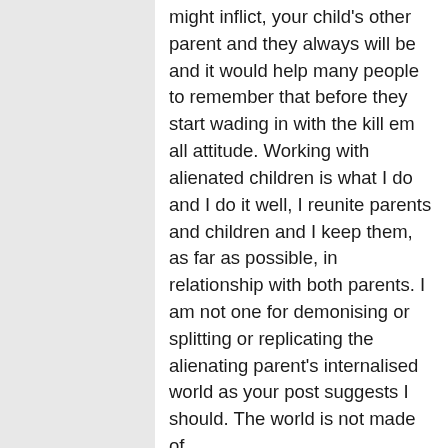might inflict, your child's other parent and they always will be and it would help many people to remember that before they start wading in with the kill em all attitude. Working with alienated children is what I do and I do it well, I reunite parents and children and I keep them, as far as possible, in relationship with both parents. I am not one for demonising or splitting or replicating the alienating parent's internalised world as your post suggests I should. The world is not made of